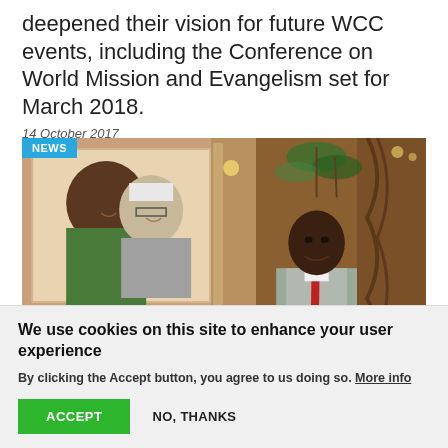deepened their vision for future WCC events, including the Conference on World Mission and Evangelism set for March 2018.
14 October 2017
[Figure (photo): NEWS badge in blue top-left corner. Photo composite: left side shows a nun and a young Black child embracing and smiling, with smaller photos below. Right side shows a smiling Black man in a grey suit and red tie, standing before carved wooden decorations and plants.]
We use cookies on this site to enhance your user experience
By clicking the Accept button, you agree to us doing so. More info
ACCEPT
NO, THANKS